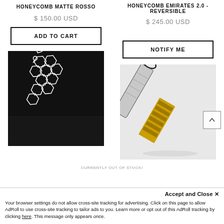HONEYCOMB MATTE ROSSO
$ 150.00 USD
ADD TO CART
HONEYCOMB EMIRATES 2.0 - REVERSIBLE
$ 245.00 USD
NOTIFY ME
[Figure (photo): A honeycomb-patterned tie (silver/black hexagonal design) displayed on a dark background with a small heart icon overlay]
[Figure (photo): A reversible tie shown from the side, displaying silver/white on one side and gold chevron pattern on the other, on a light background]
Accept and Close ✕
Your browser settings do not allow cross-site tracking for advertising. Click on this page to allow AdRoll to use cross-site tracking to tailor ads to you. Learn more or opt out of this AdRoll tracking by clicking here. This message only appears once.